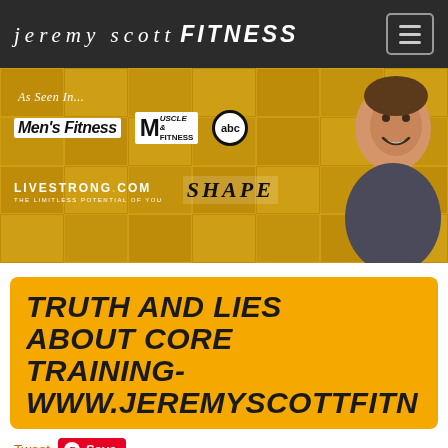jeremy scott FITNESS
[Figure (photo): Banner with logos: As Seen In... Men's Fitness, Muscle & Fitness, abc, LIVESTRONG.COM, SHAPE. Photo of a smiling fit man on right side.]
TRUTH AND LIES ABOUT CORE TRAINING- WWW.JEREMYSCOTTFITN
Tweet  Save